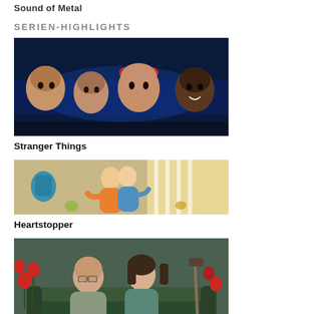Sound of Metal
SERIEN-HIGHLIGHTS
[Figure (photo): Four children looking forward in a dark blue-lit scene from Stranger Things]
Stranger Things
[Figure (photo): Two people embracing outdoors with colorful background from Heartstopper]
Heartstopper
[Figure (photo): A man and woman sitting on a green couch in a room with red flowers from Landscapers]
Landscapers
[Figure (photo): Dark scene with a person, partially visible, from a TV show at bottom of page]